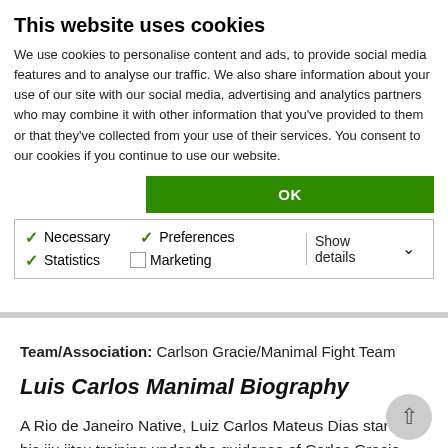This website uses cookies
We use cookies to personalise content and ads, to provide social media features and to analyse our traffic. We also share information about your use of our site with our social media, advertising and analytics partners who may combine it with other information that you've provided to them or that they've collected from your use of their services. You consent to our cookies if you continue to use our website.
OK
Necessary  Preferences  Statistics  Marketing  Show details
Team/Association: Carlson Gracie/Manimal Fight Team
Luis Carlos Manimal Biography
A Rio de Janeiro Native, Luiz Carlos Mateus Dias started his jiu jitsu training under the guidance of Carlos Gracie Junior with whom he stayed until his blue belt, though he already had a background in martial arts, namely Capoeira. It was then that Manimal would come to meet the man that would become his